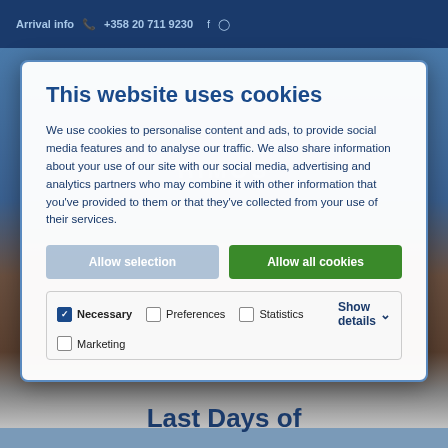Arrival info  +358 20 711 9230
This website uses cookies
We use cookies to personalise content and ads, to provide social media features and to analyse our traffic. We also share information about your use of our site with our social media, advertising and analytics partners who may combine it with other information that you've provided to them or that they've collected from your use of their services.
Allow selection  Allow all cookies
Necessary  Preferences  Statistics  Marketing  Show details
Last Days of